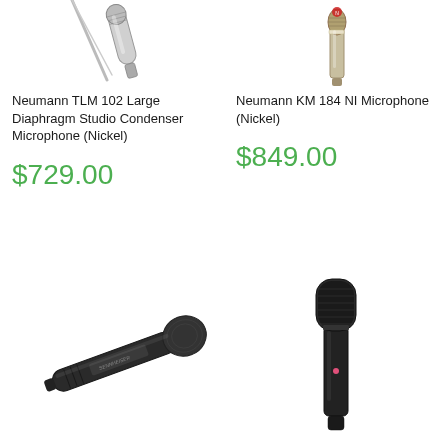[Figure (photo): Neumann TLM 102 large diaphragm studio condenser microphone in nickel, shown at an angle from the top]
Neumann TLM 102 Large Diaphragm Studio Condenser Microphone (Nickel)
$729.00
[Figure (photo): Neumann KM 184 NI pencil condenser microphone in nickel, shown vertically]
Neumann KM 184 NI Microphone (Nickel)
$849.00
[Figure (photo): Sennheiser handheld dynamic vocal microphone, shown at a diagonal angle]
[Figure (photo): Neumann large diaphragm condenser microphone in dark/black finish, shown vertically with a pink indicator light]